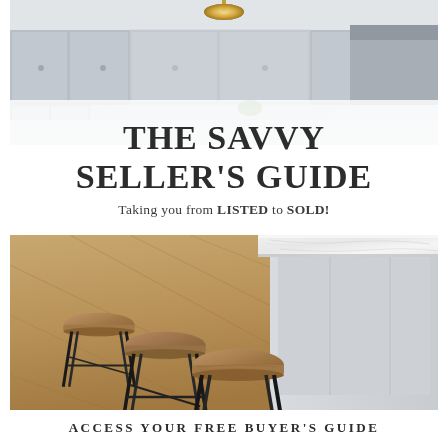[Figure (photo): Interior kitchen photo showing gray cabinets, stainless steel appliances, and a gold pendant light]
THE SAVVY SELLER'S GUIDE
Taking you from LISTED to SOLD!
[Figure (photo): Kitchen island with white marble countertop and three wooden bar stools with black metal legs on hardwood floor]
ACCESS YOUR FREE BUYER'S GUIDE